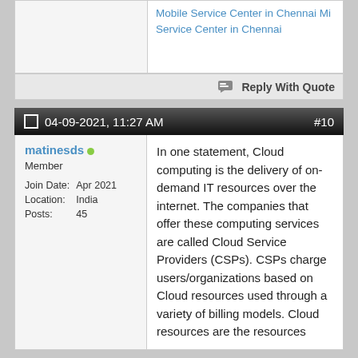Mobile Service Center in Chennai Mi Service Center in Chennai
Reply With Quote
04-09-2021, 11:27 AM  #10
matinesds
Member
Join Date: Apr 2021
Location: India
Posts: 45
In one statement, Cloud computing is the delivery of on-demand IT resources over the internet. The companies that offer these computing services are called Cloud Service Providers (CSPs). CSPs charge users/organizations based on Cloud resources used through a variety of billing models. Cloud resources are the resources